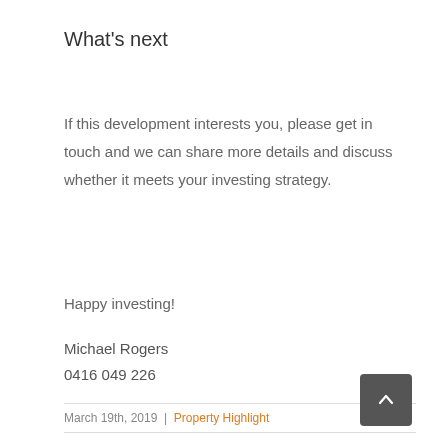What's next
If this development interests you, please get in touch and we can share more details and discuss whether it meets your investing strategy.
Happy investing!
Michael Rogers
0416 049 226
March 19th, 2019 | Property Highlight